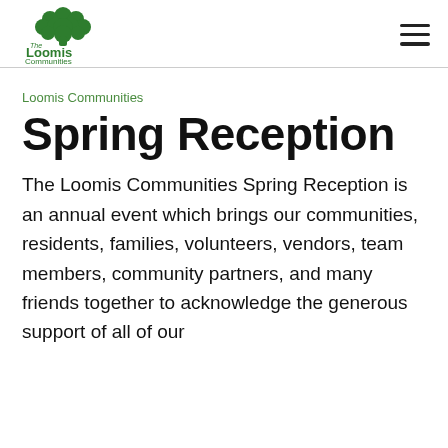The Loomis Communities
Loomis Communities
Spring Reception
The Loomis Communities Spring Reception is an annual event which brings our communities, residents, families, volunteers, vendors, team members, community partners, and many friends together to acknowledge the generous support of all of our